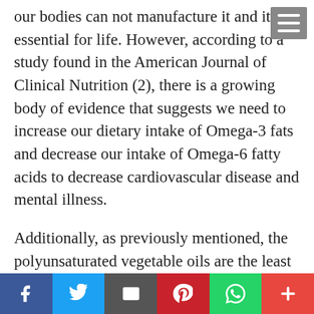our bodies can not manufacture it and it is essential for life. However, according to a study found in the American Journal of Clinical Nutrition (2), there is a growing body of evidence that suggests we need to increase our dietary intake of Omega-3 fats and decrease our intake of Omega-6 fatty acids to decrease cardiovascular disease and mental illness.
Additionally, as previously mentioned, the polyunsaturated vegetable oils are the least stable of all the fats. But, many people still cook with these highly processed vegetable oils which
Facebook | Twitter | Email | Pinterest | WhatsApp | Plus